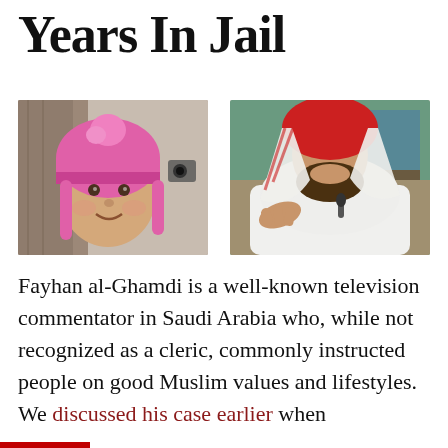Years In Jail
[Figure (photo): Photo of a young child wearing a pink knitted hat and pink braids, smiling at the camera. Indoor background with curtain visible.]
[Figure (photo): Photo of a bearded man wearing a white thobe and red-and-white keffiyeh, gesturing with his hand. Appears to be on a television set.]
Fayhan al-Ghamdi is a well-known television commentator in Saudi Arabia who, while not recognized as a cleric, commonly instructed people on good Muslim values and lifestyles. We discussed his case earlier when